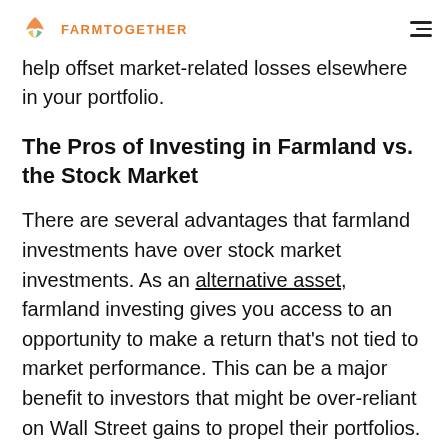FARMTOGETHER
help offset market-related losses elsewhere in your portfolio.
The Pros of Investing in Farmland vs. the Stock Market
There are several advantages that farmland investments have over stock market investments. As an alternative asset, farmland investing gives you access to an opportunity to make a return that's not tied to market performance. This can be a major benefit to investors that might be over-reliant on Wall Street gains to propel their portfolios. With economic jitters abound, there may not be a better time to seek shelter through an